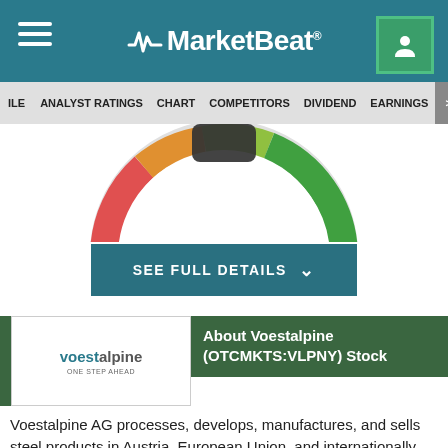MarketBeat
ILE  ANALYST RATINGS  CHART  COMPETITORS  DIVIDEND  EARNINGS  FINA
[Figure (other): Partial gauge/donut chart showing analyst rating, bottom portion visible with dark gray arc at top center]
SEE FULL DETAILS
About Voestalpine (OTCMKTS:VLPNY) Stock
Voestalpine AG processes, develops, manufactures, and sells steel products in Austria, European Union, and internationally. The company operates through five segments: Steel, High Performance Metals, Metal Engineering, Metal Forming,